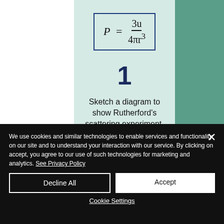1
Sketch a diagram to show Rutherford's scattering experiment.
We use cookies and similar technologies to enable services and functionality on our site and to understand your interaction with our service. By clicking on accept, you agree to our use of such technologies for marketing and analytics. See Privacy Policy
Decline All
Accept
Cookie Settings